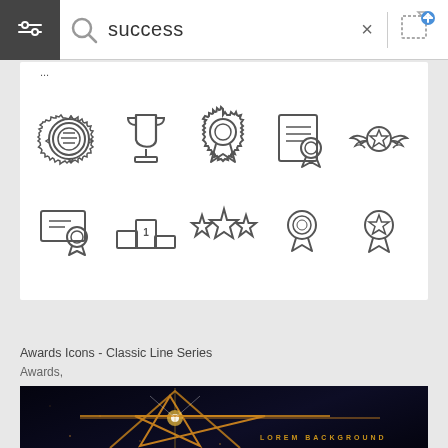[Figure (screenshot): Search bar UI with filter icon, magnifying glass, 'success' text, X close button, divider, and image upload icon on white background with dark filter panel on left]
[Figure (illustration): Grid of 10 award/success line-art icons including badge, trophy, rosette, certificate with ribbon, winged star badge, certificate with seal, podium with #1, three stars, detailed medal, and ribbon medal]
Awards Icons - Classic Line Series
Awards,
[Figure (illustration): Dark background with glowing golden star outline and light streaks, text 'LOREM BACKGROUND' in golden letters at bottom right]